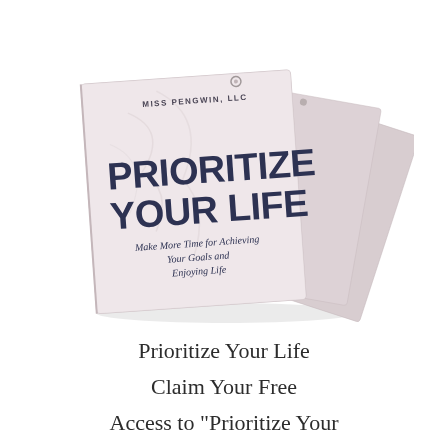[Figure (illustration): Three stacked books with covers showing 'PRIORITIZE YOUR LIFE' in bold dark navy text, with subtitle 'Make More Time for Achieving Your Goals and Enjoying Life' in cursive script, published by Miss Pengwin, LLC. The covers have a light pinkish-beige color with a feather texture background.]
Prioritize Your Life
Claim Your Free Access to "Prioritize Your